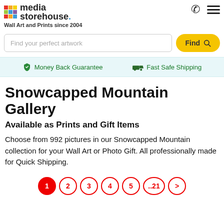[Figure (logo): Media Storehouse logo with colorful grid squares and text]
Wall Art and Prints since 2004
Find your perfect artwork
Money Back Guarantee  Fast Safe Shipping
Snowcapped Mountain Gallery
Available as Prints and Gift Items
Choose from 992 pictures in our Snowcapped Mountain collection for your Wall Art or Photo Gift. All professionally made for Quick Shipping.
1  2  3  4  5  ..21  >